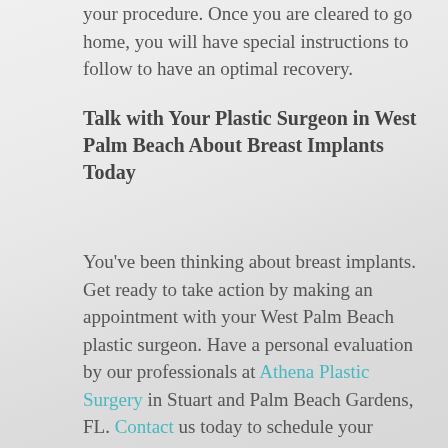your procedure. Once you are cleared to go home, you will have special instructions to follow to have an optimal recovery.
Talk with Your Plastic Surgeon in West Palm Beach About Breast Implants Today
You've been thinking about breast implants. Get ready to take action by making an appointment with your West Palm Beach plastic surgeon. Have a personal evaluation by our professionals at Athena Plastic Surgery in Stuart and Palm Beach Gardens, FL. Contact us today to schedule your consultation!